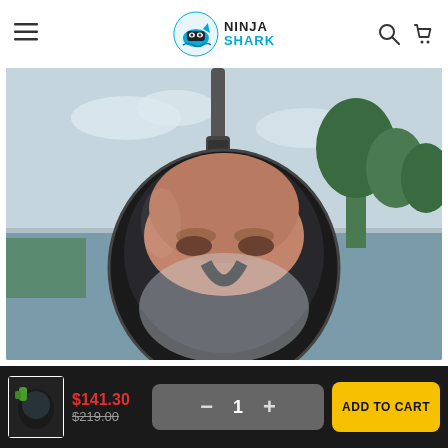Ninja Shark — navigation header
[Figure (photo): Close-up photo of a person wearing a full-face snorkeling mask (black) with a GoPro-style camera mount on top. Background shows water and greenery.]
[Figure (photo): Small thumbnail of snorkeling mask product]
$141.30
$219.00
1
ADD TO CART